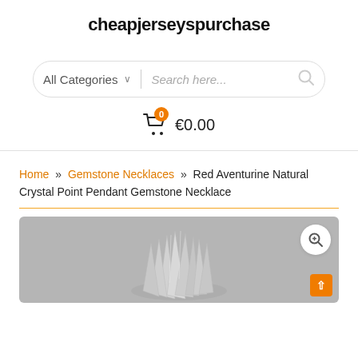cheapjerseyspurchase
[Figure (screenshot): Search bar with 'All Categories' dropdown and 'Search here...' placeholder, with a search icon]
[Figure (infographic): Shopping cart icon with orange badge showing '0' and price €0.00]
Home » Gemstone Necklaces » Red Aventurine Natural Crystal Point Pendant Gemstone Necklace
[Figure (photo): Product photo of a gemstone necklace with crystal pendant on grey background, with zoom button]